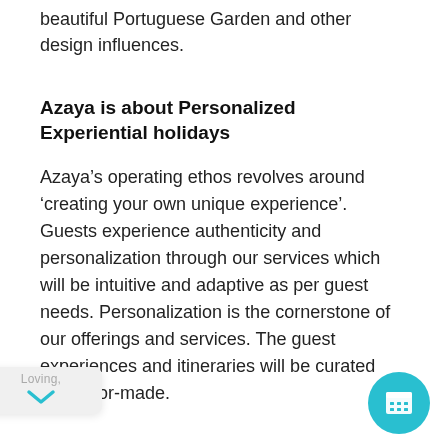beautiful Portuguese Garden and other design influences.
Azaya is about Personalized Experiential holidays
Azaya’s operating ethos revolves around ‘creating your own unique experience’. Guests experience authenticity and personalization through our services which will be intuitive and adaptive as per guest needs. Personalization is the cornerstone of our offerings and services. The guest experiences and itineraries will be curated and tailor-made.
Azaya is Youthful, Fun Loving, Relaxed and Uninhibited